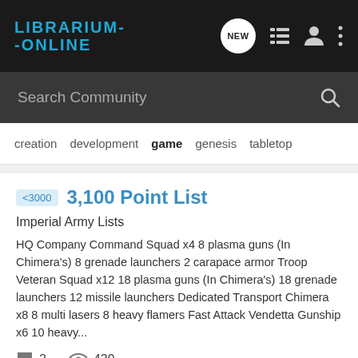LIBRARIUM-ONLINE
Search Community
creation
development
game
genesis
tabletop
<3000  3,100 Point List
Imperial Army Lists
HQ Company Command Squad x4 8 plasma guns (In Chimera's) 8 grenade launchers 2 carapace armor Troop Veteran Squad x12 18 plasma guns (In Chimera's) 18 grenade launchers 12 missile launchers Dedicated Transport Chimera x8 8 multi lasers 8 heavy flamers Fast Attack Vendetta Gunship x6 10 heavy...
2  439
nacho cheese · Dec 17, 2012
3100
game
guard
imperial